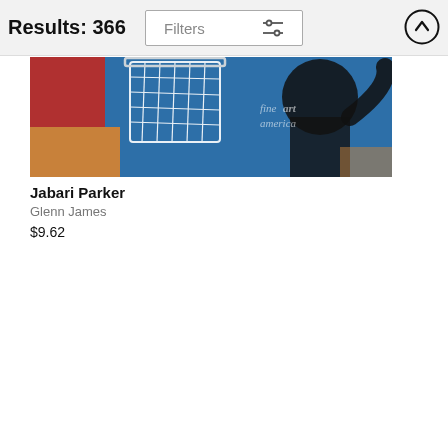Results: 366
Filters
[Figure (photo): Basketball photo showing a player in a blue jersey near a hoop with netting, taken from below, with Fine Art America watermark]
Jabari Parker
Glenn James
$9.62